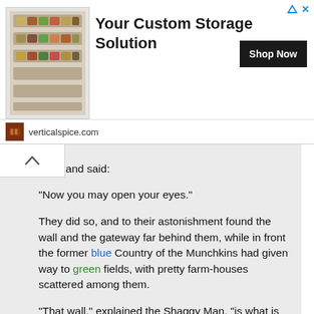[Figure (advertisement): Ad banner for verticalspice.com showing spice rack storage product image, headline 'Your Custom Storage Solution', Shop Now button, and website URL]
pped and said:

"Now you may open your eyes."

They did so, and to their astonishment found the wall and the gateway far behind them, while in front the former blue Country of the Munchkins had given way to green fields, with pretty farm-houses scattered among them.

"That wall," explained the Shaggy Man, "is what is called an optical illusion. It is quite real while you have your eyes open, but if you are not looking at it the